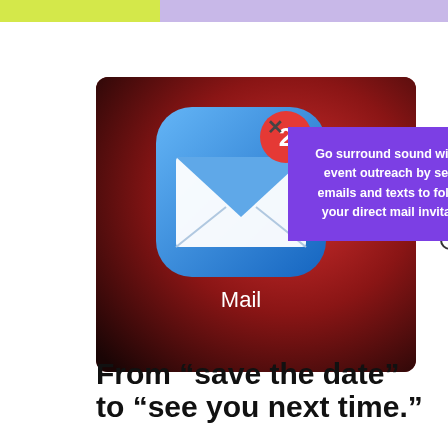[Figure (photo): Close-up photo of an iPhone Mail app icon on a dark red background, showing a notification badge with the number 2. A purple callout box overlaps the image with white bold text reading: 'Go surround sound with your event outreach by sending emails and texts to follow up your direct mail invitations.' An X mark appears near the top and a circle mark appears to the right.]
From “save the date” to “see you next time.”
Alright, alright. We know you’re excited to start thinking about your event and the details surrounding it now that you’ve established your brand. But let’s